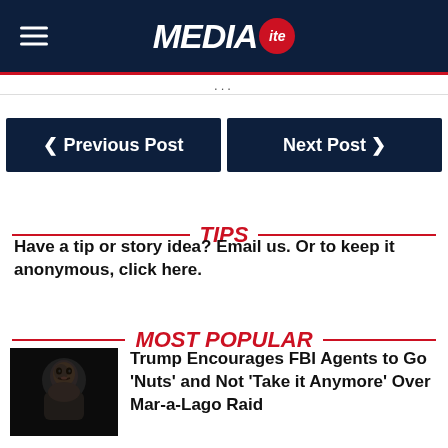MEDIAITE
...
◂ Previous Post  |  Next Post ▸
TIPS
Have a tip or story idea? Email us. Or to keep it anonymous, click here.
MOST POPULAR
Trump Encourages FBI Agents to Go 'Nuts' and Not 'Take it Anymore' Over Mar-a-Lago Raid